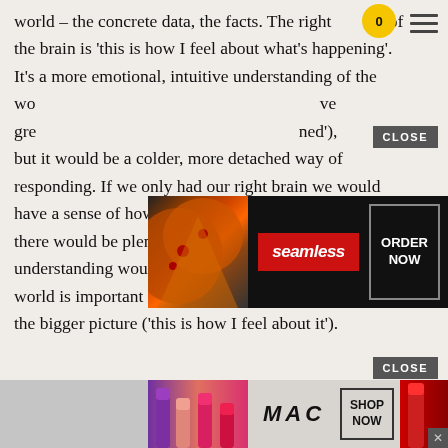world – the concrete data, the facts. The right part of the brain is 'this is how I feel about what's happening'. It's a more emotional, intuitive understanding of the world ... (have great ... happened'), but it would be a colder, more detached way of responding. If we only had our right brain we would have a sense of how we felt about an experience, and there would be plenty of emotion, but the more rational understanding would be missing. The detail of the world is important ('this is what happened') but so is the bigger picture ('this is how I feel about it').
[Figure (other): Seamless food delivery advertisement banner showing pizza image on the left, Seamless logo in red center, and ORDER NOW button on dark background]
[Figure (other): MAC cosmetics advertisement banner showing lipsticks on left and right, MAC logo in center, SHOP NOW button]